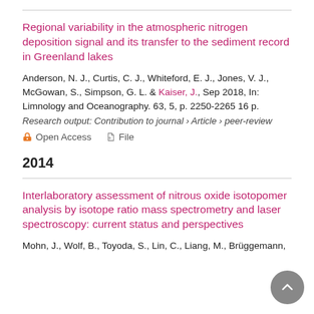Regional variability in the atmospheric nitrogen deposition signal and its transfer to the sediment record in Greenland lakes
Anderson, N. J., Curtis, C. J., Whiteford, E. J., Jones, V. J., McGowan, S., Simpson, G. L. & Kaiser, J., Sep 2018, In: Limnology and Oceanography. 63, 5, p. 2250-2265 16 p.
Research output: Contribution to journal › Article › peer-review
Open Access   File
2014
Interlaboratory assessment of nitrous oxide isotopomer analysis by isotope ratio mass spectrometry and laser spectroscopy: current status and perspectives
Mohn, J., Wolf, B., Toyoda, S., Lin, C., Liang, M., Brüggemann,